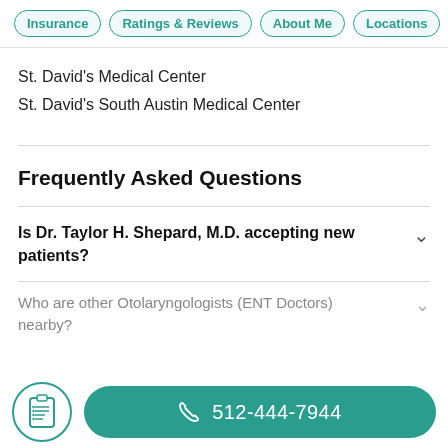Insurance | Ratings & Reviews | About Me | Locations
St. David's Medical Center
St. David's South Austin Medical Center
Frequently Asked Questions
Is Dr. Taylor H. Shepard, M.D. accepting new patients?
Who are other Otolaryngologists (ENT Doctors) nearby?
512-444-7944